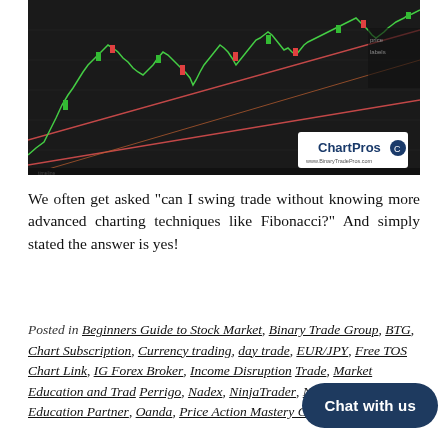[Figure (continuous-plot): Dark-background candlestick/line chart showing currency price action with green and red candles, green price line, diagonal red trend lines forming a wedge pattern, and a ChartPros watermark logo in the bottom-right corner.]
We often get asked "can I swing trade without knowing more advanced charting techniques like Fibonacci?" And simply stated the answer is yes!
Posted in Beginners Guide to Stock Market, Binary Trade Group, BTG, Chart Subscription, Currency trading, day trade, EUR/JPY, Free TOS Chart Link, IG Forex Broker, Income Disruption Trade, Market Education and Trade, Perrigo, Nadex, NinjaTrader, NinjaTrader Education Partner, Oanda, Price Action Mastery Course, Sean